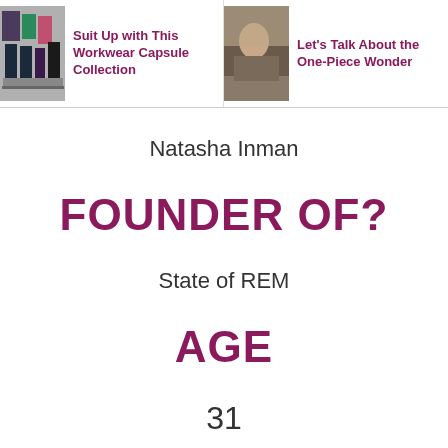Suit Up with This Workwear Capsule Collection | Let's Talk About the One-Piece Wonder
Natasha Inman
FOUNDER OF?
State of REM
AGE
31